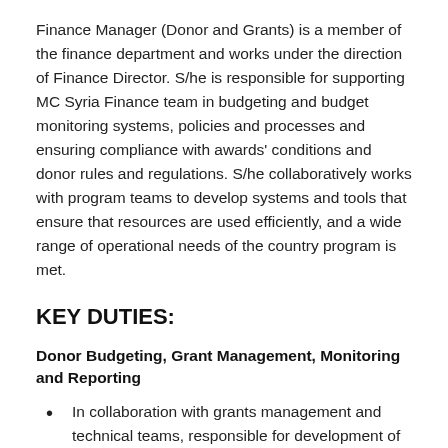Finance Manager (Donor and Grants) is a member of the finance department and works under the direction of Finance Director. S/he is responsible for supporting MC Syria Finance team in budgeting and budget monitoring systems, policies and processes and ensuring compliance with awards' conditions and donor rules and regulations. S/he collaboratively works with program teams to develop systems and tools that ensure that resources are used efficiently, and a wide range of operational needs of the country program is met.
KEY DUTIES:
Donor Budgeting, Grant Management, Monitoring and Reporting
In collaboration with grants management and technical teams, responsible for development of